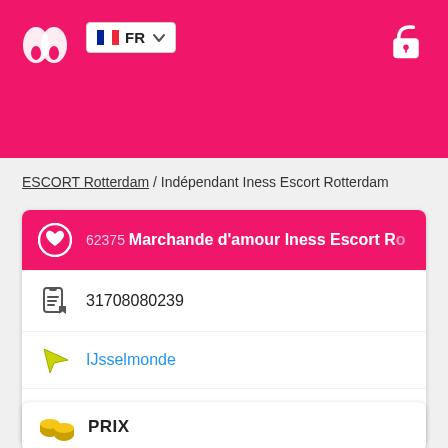[Figure (logo): Pink header bar with website logo (two rounded shapes), French flag language selector (FR), and unlock/lock icon]
ESCORT Rotterdam / Indépendant Iness Escort Rotterdam
62375 Marchande d'amour Iness Escort Ro
31708080239
IJsselmonde
Kralingse Zoom
PRIX